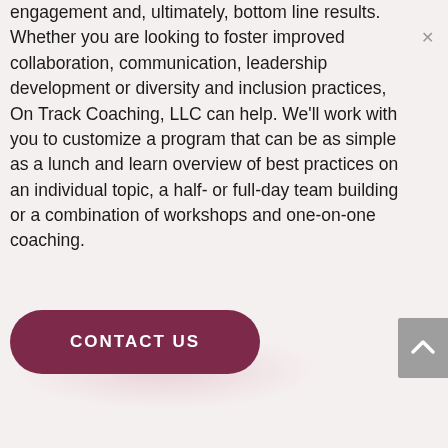engagement and, ultimately, bottom line results. Whether you are looking to foster improved collaboration, communication, leadership development or diversity and inclusion practices, On Track Coaching, LLC can help. We'll work with you to customize a program that can be as simple as a lunch and learn overview of best practices on an individual topic, a half- or full-day team building or a combination of workshops and one-on-one coaching.
[Figure (other): CONTACT US button - dark magenta/burgundy pill-shaped button with white bold uppercase text]